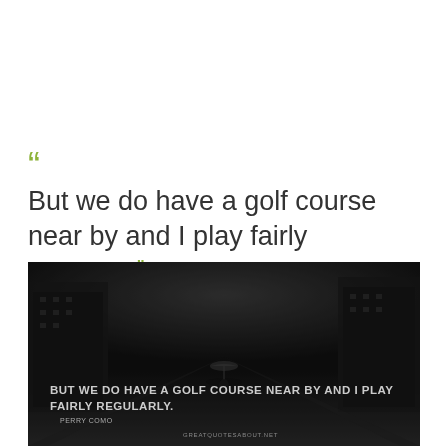“ But we do have a golf course near by and I play fairly regularly. ”
[Figure (photo): Dark moody photograph of a rainy street scene with a silhouette of a person holding an umbrella walking in the middle of an empty road. Overlaid text reads: BUT WE DO HAVE A GOLF COURSE NEAR BY AND I PLAY FAIRLY REGULARLY. PERRY COMO. Watermark text at bottom center.]